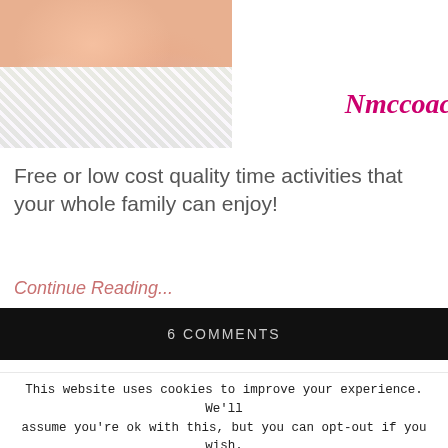[Figure (photo): Close-up photo of a young child in a floral dress, hands clasped together]
Nmccoac
Free or low cost quality time activities that your whole family can enjoy!
Continue Reading...
6 COMMENTS
This website uses cookies to improve your experience. We'll assume you're ok with this, but you can opt-out if you wish.
Cookie settings
ACCEPT